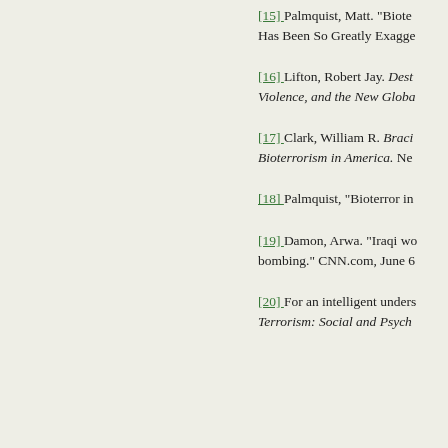[15] Palmquist, Matt. "Bioter... Has Been So Greatly Exagge...
[16] Lifton, Robert Jay. Dest... Violence, and the New Globa...
[17] Clark, William R. Braci... Bioterrorism in America. Ne...
[18] Palmquist, "Bioterror in...
[19] Damon, Arwa. "Iraqi wo... bombing." CNN.com, June 6...
[20] For an intelligent unders... Terrorism: Social and Psych...